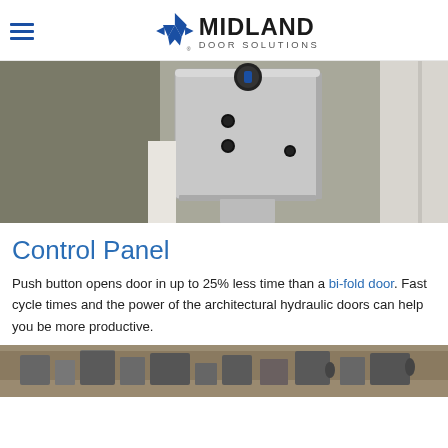Midland Door Solutions
[Figure (photo): Close-up photo of a metal control panel box mounted on a wall, showing push buttons and a key switch, next to a white door panel.]
Control Panel
Push button opens door in up to 25% less time than a bi-fold door. Fast cycle times and the power of the architectural hydraulic doors can help you be more productive.
[Figure (photo): Wide-angle photo of an industrial warehouse interior showing large machinery and equipment.]